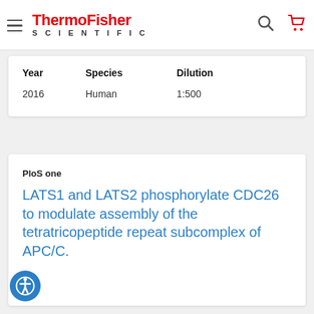ThermoFisher SCIENTIFIC
| Year | Species | Dilution |
| --- | --- | --- |
| 2016 | Human | 1:500 |
PloS one
LATS1 and LATS2 phosphorylate CDC26 to modulate assembly of the tetratricopeptide repeat subcomplex of APC/C.